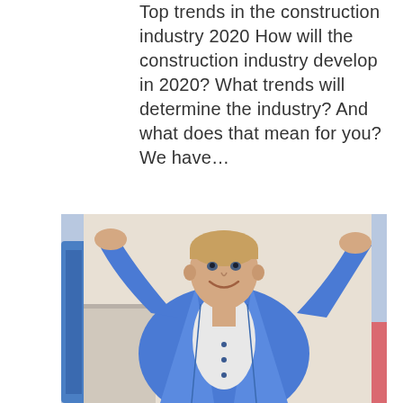Top trends in the construction industry 2020 How will the construction industry develop in 2020? What trends will determine the industry? And what does that mean for you? We have…
[Figure (photo): A smiling young man wearing a denim jacket with hands behind his head, sitting in a relaxed pose against a light background with some blurred objects.]